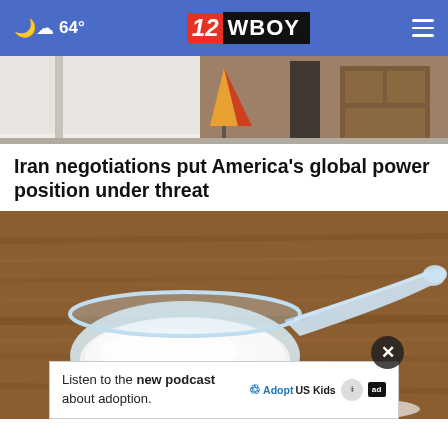64° | 12 WBOY
[Figure (photo): Partial view of a room interior with white walls, wood furniture, and an orange/yellow decorative item]
Iran negotiations put America's global power position under threat
[Figure (photo): Close-up photo of a plastic measuring scoop filled with white powder on a wooden surface]
Listen to the new podcast about adoption.